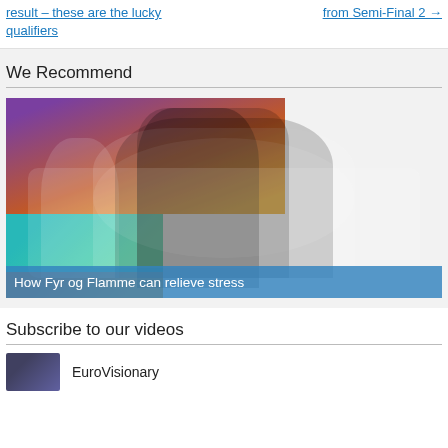result – these are the lucky qualifiers
from Semi-Final 2 →
We Recommend
[Figure (photo): Collage of concert/performance photos showing musicians on stage with colorful lighting. Caption: 'How Fyr og Flamme can relieve stress']
How Fyr og Flamme can relieve stress
Subscribe to our videos
EuroVisionary